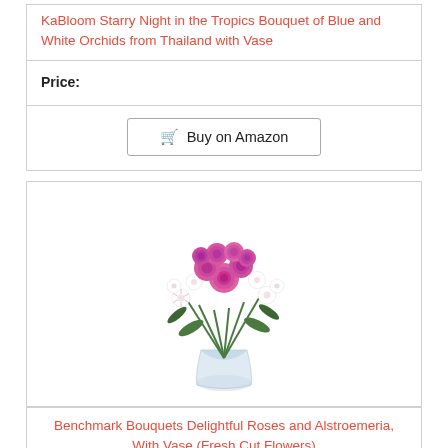KaBloom Starry Night in the Tropics Bouquet of Blue and White Orchids from Thailand with Vase
Price:
Buy on Amazon
[Figure (photo): A bouquet of pink roses and white alstroemeria flowers in a clear glass vase]
Benchmark Bouquets Delightful Roses and Alstroemeria, With Vase (Fresh Cut Flowers)